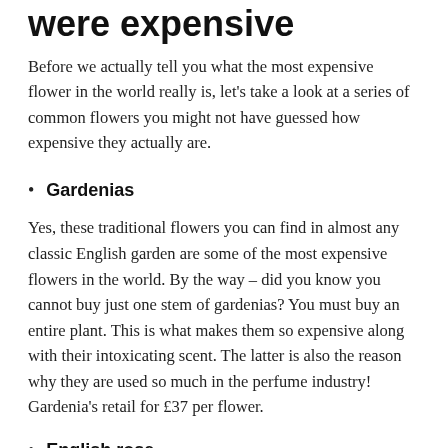were expensive
Before we actually tell you what the most expensive flower in the world really is, let's take a look at a series of common flowers you might not have guessed how expensive they actually are.
Gardenias
Yes, these traditional flowers you can find in almost any classic English garden are some of the most expensive flowers in the world. By the way – did you know you cannot buy just one stem of gardenias? You must buy an entire plant. This is what makes them so expensive along with their intoxicating scent. The latter is also the reason why they are used so much in the perfume industry! Gardenia's retail for £37 per flower.
English rose